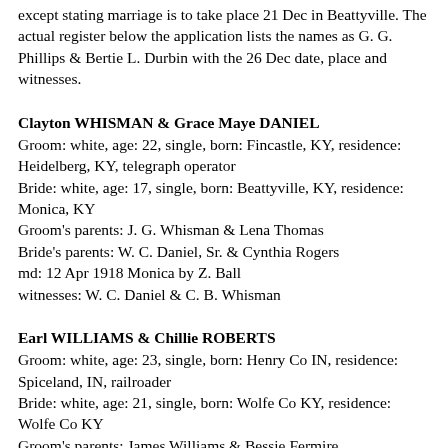except stating marriage is to take place 21 Dec in Beattyville. The actual register below the application lists the names as G. G. Phillips & Bertie L. Durbin with the 26 Dec date, place and witnesses.
Clayton WHISMAN & Grace Maye DANIEL
Groom:  white, age:  22, single, born:  Fincastle, KY, residence:  Heidelberg, KY, telegraph operator
Bride:  white, age:  17, single, born:  Beattyville, KY, residence:  Monica, KY
Groom's parents:  J. G. Whisman & Lena Thomas
Bride's parents:  W. C. Daniel, Sr. & Cynthia Rogers
md:  12 Apr 1918 Monica by Z. Ball
witnesses:  W. C. Daniel & C. B. Whisman
Earl WILLIAMS & Chillie ROBERTS
Groom:  white, age:  23, single, born:  Henry Co IN, residence:  Spiceland, IN, railroader
Bride:  white, age:  21, single, born:  Wolfe Co KY, residence:  Wolfe Co KY
Groom's parents:  James Williams & Bessie Fermire